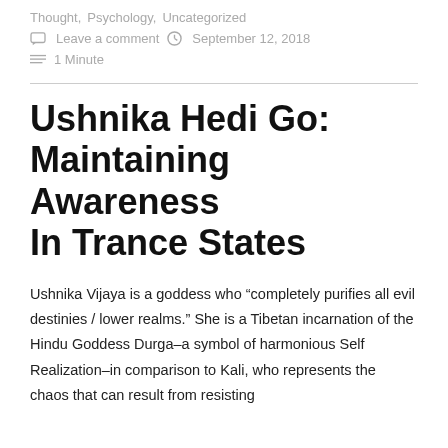Thought, Psychology, Uncategorized
Leave a comment   September 12, 2018
1 Minute
Ushnika Hedi Go: Maintaining Awareness In Trance States
Ushnika Vijaya is a goddess who “completely purifies all evil destinies / lower realms.” She is a Tibetan incarnation of the Hindu Goddess Durga–a symbol of harmonious Self Realization–in comparison to Kali, who represents the chaos that can result from resisting